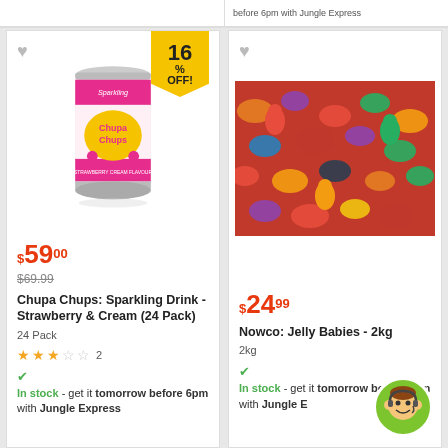before 6pm with Jungle Express
[Figure (photo): Chupa Chups Sparkling Strawberry and Cream flavour can with discount badge 16% OFF]
$59.00
$69.99
Chupa Chups: Sparkling Drink - Strawberry & Cream (24 Pack)
24 Pack
2 reviews, 2.5 stars
In stock - get it tomorrow before 6pm with Jungle Express
[Figure (photo): Close-up photo of colorful jelly baby gummy candies in various colors]
$24.99
Nowco: Jelly Babies - 2kg
2kg
In stock - get it tomorrow before 6pm with Jungle E...